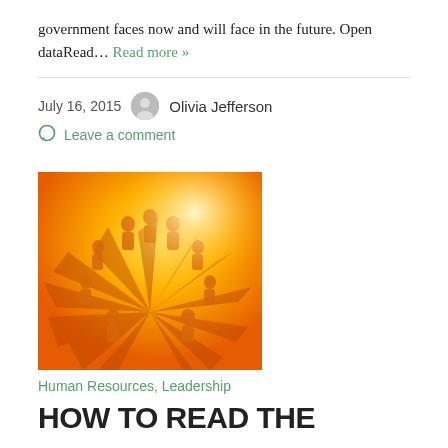government faces now and will face in the future. Open dataRead… Read more »
July 16, 2015   Olivia Jefferson
Leave a comment
[Figure (photo): Orange-toned image of paper cutout figures holding hands in a circle, symbolic of community and teamwork, against a warm yellow-orange gradient background.]
Human Resources, Leadership
HOW TO READ THE